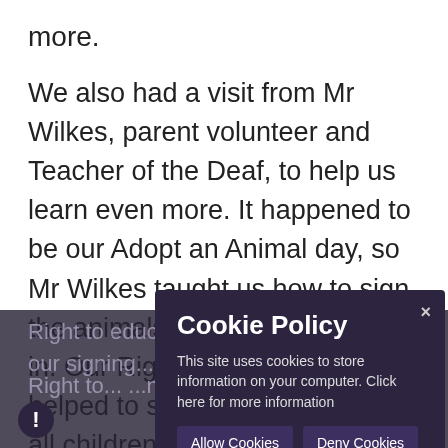more.
We also had a visit from Mr Wilkes, parent volunteer and Teacher of the Deaf, to help us learn even more. It happened to be our Adopt an Animal day, so Mr Wilkes taught us how to sign the animals we were dressed up in. Our Rights Ambassadors helped to spread the word that all children should receive their rights no matter what!
Right to education... a new skill in our signing...
Right to... ...n for voice...
Cookie Policy
This site uses cookies to store information on your computer. Click here for more information
Allow Cookies  Deny Cookies